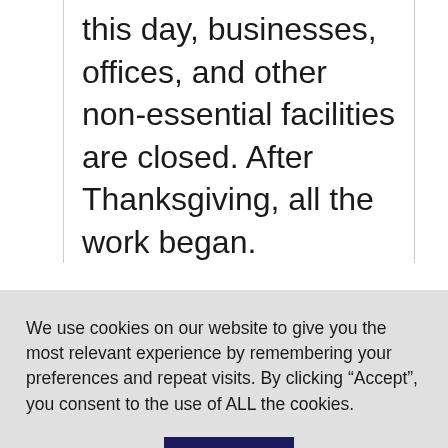this day, businesses, offices, and other non-essential facilities are closed. After Thanksgiving, all the work began.
We use cookies on our website to give you the most relevant experience by remembering your preferences and repeat visits. By clicking “Accept”, you consent to the use of ALL the cookies.
Cookie settings
ACCEPT
government workers are paid.